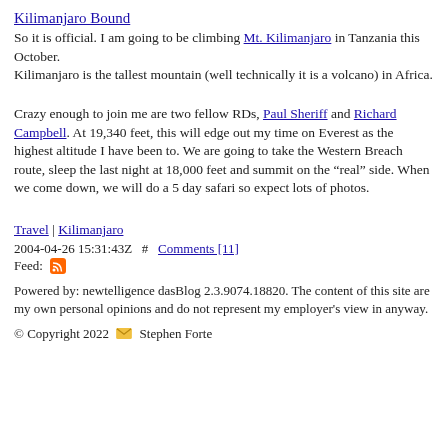Kilimanjaro Bound
So it is official. I am going to be climbing Mt. Kilimanjaro in Tanzania this October.
Kilimanjaro is the tallest mountain (well technically it is a volcano) in Africa.
Crazy enough to join me are two fellow RDs, Paul Sheriff and Richard Campbell. At 19,340 feet, this will edge out my time on Everest as the highest altitude I have been to. We are going to take the Western Breach route, sleep the last night at 18,000 feet and summit on the “real” side. When we come down, we will do a 5 day safari so expect lots of photos.
Travel | Kilimanjaro
2004-04-26 15:31:43Z  #  Comments [11]
Feed:
Powered by: newtelligence dasBlog 2.3.9074.18820. The content of this site are my own personal opinions and do not represent my employer's view in anyway.
© Copyright 2022 ✉ Stephen Forte